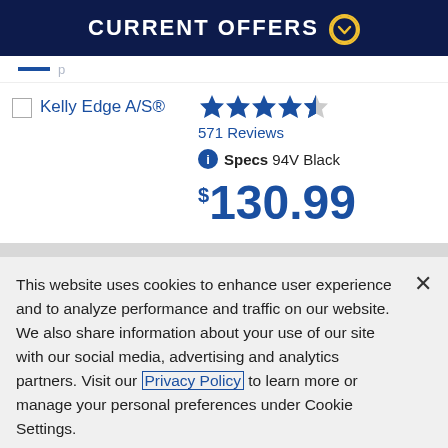CURRENT OFFERS
Kelly Edge A/S®
571 Reviews
Specs 94V Black
$130.99
This website uses cookies to enhance user experience and to analyze performance and traffic on our website. We also share information about your use of our site with our social media, advertising and analytics partners. Visit our Privacy Policy to learn more or manage your personal preferences under Cookie Settings.
Cookie Settings
Accept Cookies